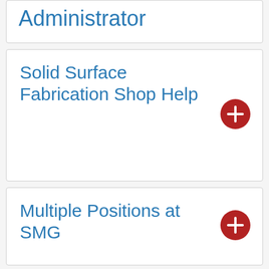Administrator
Solid Surface Fabrication Shop Help
Multiple Positions at SMG